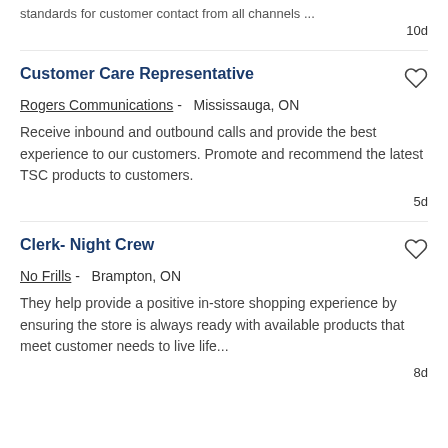standards for customer contact from all channels ...
10d
Customer Care Representative
Rogers Communications -   Mississauga, ON
Receive inbound and outbound calls and provide the best experience to our customers. Promote and recommend the latest TSC products to customers.
5d
Clerk- Night Crew
No Frills -   Brampton, ON
They help provide a positive in-store shopping experience by ensuring the store is always ready with available products that meet customer needs to live life...
8d